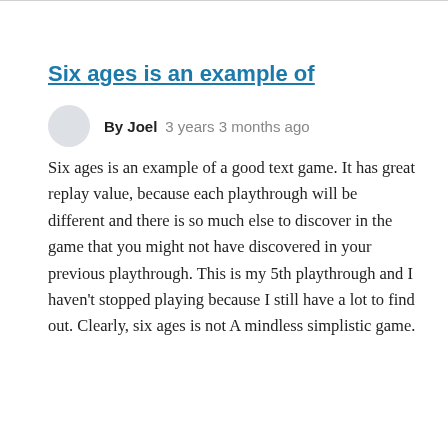Six ages is an example of
By Joel   3 years 3 months ago
Six ages is an example of a good text game. It has great replay value, because each playthrough will be different and there is so much else to discover in the game that you might not have discovered in your previous playthrough. This is my 5th playthrough and I haven't stopped playing because I still have a lot to find out. Clearly, six ages is not A mindless simplistic game.